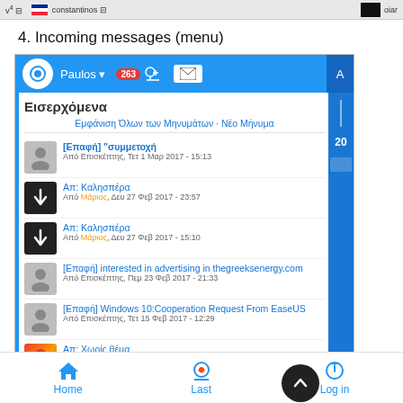v4  constantinos  oiar
4. Incoming messages (menu)
[Figure (screenshot): Screenshot of a Joomla website inbox panel showing incoming messages in Greek. Blue navigation bar with 'Paulos' user, 263 notifications. Inbox list showing messages from visitors and users named Marios and Ioanna, with dates in February-March 2017.]
Home  Last  Log in